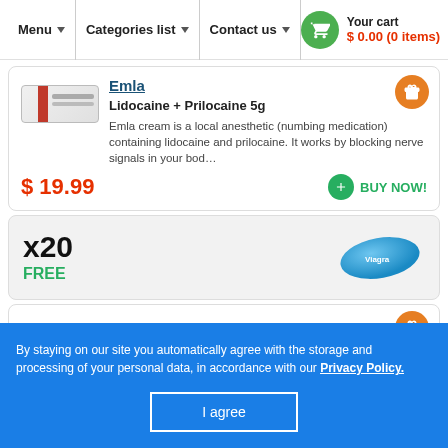Menu | Categories list | Contact us | Your cart $0.00 (0 items)
Emla
Lidocaine + Prilocaine 5g
Emla cream is a local anesthetic (numbing medication) containing lidocaine and prilocaine. It works by blocking nerve signals in your bod…
$ 19.99
BUY NOW!
x20
FREE
By staying on our site you automatically agree with the storage and processing of your personal data, in accordance with our Privacy Policy.
I agree